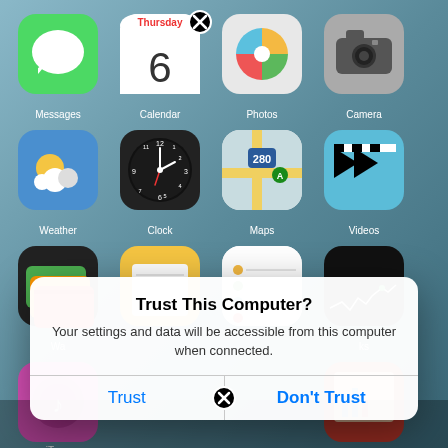[Figure (screenshot): iOS iPhone home screen showing app icons (Messages, Calendar, Photos, Camera, Weather, Clock, Maps, Videos, Wallet, Notes, Reminders, Stocks, iTunes, and others) with a 'Trust This Computer?' system alert dialog overlaying the bottom portion of the screen. The alert has two buttons: 'Trust' and 'Don't Trust'.]